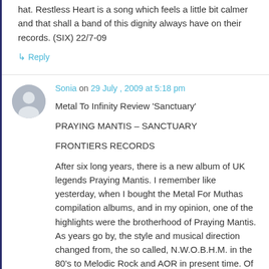hat. Restless Heart is a song which feels a little bit calmer and that shall a band of this dignity always have on their records. (SIX) 22/7-09
↳ Reply
Sonia on 29 July , 2009 at 5:18 pm
Metal To Infinity Review ‘Sanctuary’
PRAYING MANTIS – SANCTUARY
FRONTIERS RECORDS
After six long years, there is a new album of UK legends Praying Mantis. I remember like yesterday, when I bought the Metal For Muthas compilation albums, and in my opinion, one of the highlights were the brotherhood of Praying Mantis. As years go by, the style and musical direction changed from, the so called, N.W.O.B.H.M. in the 80’s to Melodic Rock and AOR in present time. Of course, there have been several line-up changes through the years, the band was even put on ice for a while, but all in all, they managed to come back, and that’s